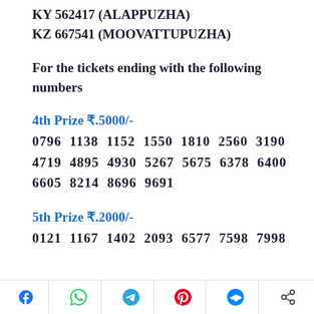KY 562417 (ALAPPUZHA)
KZ 667541 (MOOVATTUPUZHA)
For the tickets ending with the following numbers
4th Prize ₹.5000/-
0796  1138  1152  1550  1810  2560  3190  4719  4895  4930  5267  5675  6378  6400  6605  8214  8696  9691
5th Prize ₹.2000/-
0121  1167  1402  2093  6577  7598  7998